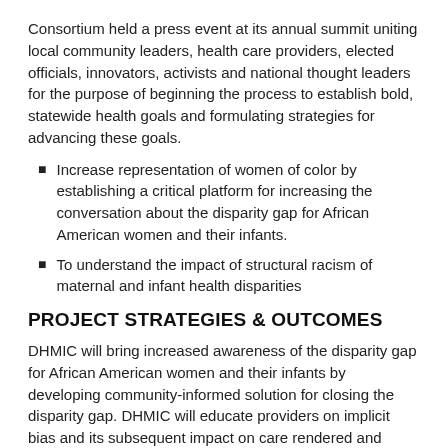Consortium held a press event at its annual summit uniting local community leaders, health care providers, elected officials, innovators, activists and national thought leaders for the purpose of beginning the process to establish bold, statewide health goals and formulating strategies for advancing these goals.
Increase representation of women of color by establishing a critical platform for increasing the conversation about the disparity gap for African American women and their infants.
To understand the impact of structural racism of maternal and infant health disparities
PROJECT STRATEGIES & OUTCOMES
DHMIC will bring increased awareness of the disparity gap for African American women and their infants by developing community-informed solution for closing the disparity gap. DHMIC will educate providers on implicit bias and its subsequent impact on care rendered and health disparities.
View the infographic created to increase awareness: